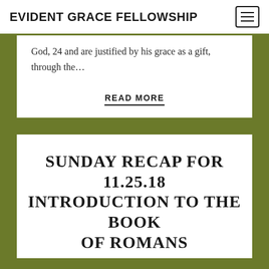EVIDENT GRACE FELLOWSHIP
God, 24 and are justified by his grace as a gift, through the…
READ MORE
SUNDAY RECAP FOR 11.25.18 INTRODUCTION TO THE BOOK OF ROMANS
November 25, 2018  Gordon Duncan  0 Comment